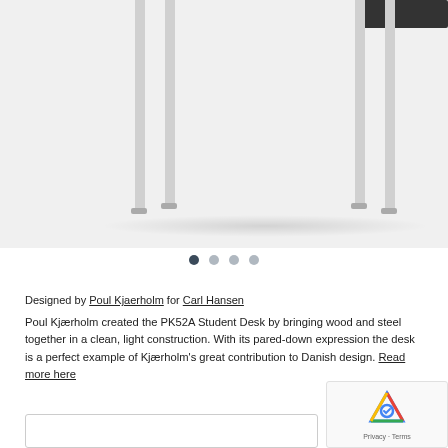[Figure (photo): Partial view of a PK52A Student Desk by Poul Kjærholm for Carl Hansen, showing the desk legs and lower frame on a light grey background, with a dark drawer unit visible at top right.]
Designed by Poul Kjaerholm for Carl Hansen
Poul Kjærholm created the PK52A Student Desk by bringing wood and steel together in a clean, light construction. With its pared-down expression the desk is a perfect example of Kjærholm's great contribution to Danish design. Read more here